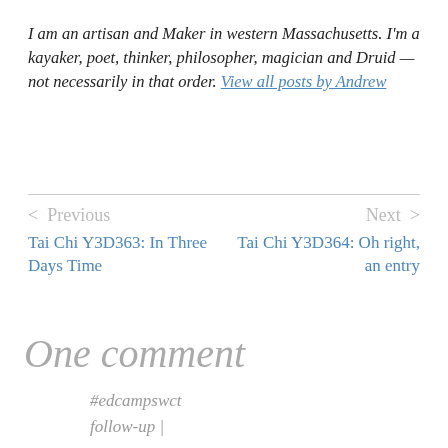I am an artisan and Maker in western Massachusetts. I'm a kayaker, poet, thinker, philosopher, magician and Druid — not necessarily in that order. View all posts by Andrew
< Previous   Next >
Tai Chi Y3D363: In Three Days Time
Tai Chi Y3D364: Oh right, an entry
One comment
#edcampswct follow-up |